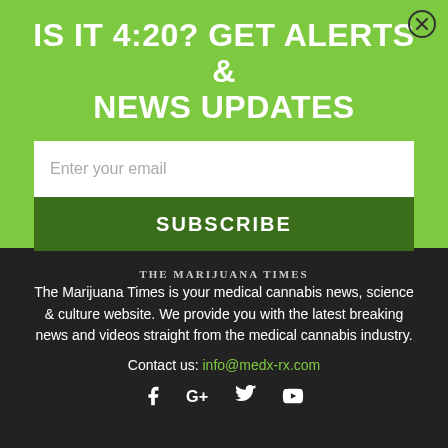IS IT 4:20? GET ALERTS & NEWS UPDATES
Enter your email
SUBSCRIBE
THE MARIJUANA TIMES
The Marijuana Times is your medical cannabis news, science & culture website. We provide you with the latest breaking news and videos straight from the medical cannabis industry.
Contact us: info@medx-rx.com
[Figure (infographic): Social media icons: Facebook, Google+, Twitter, YouTube]